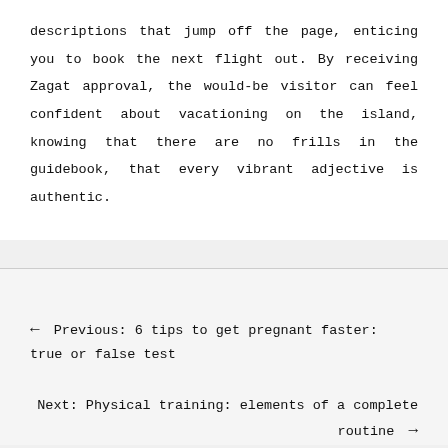descriptions that jump off the page, enticing you to book the next flight out. By receiving Zagat approval, the would-be visitor can feel confident about vacationing on the island, knowing that there are no frills in the guidebook, that every vibrant adjective is authentic.
← Previous: 6 tips to get pregnant faster: true or false test
Next: Physical training: elements of a complete routine →